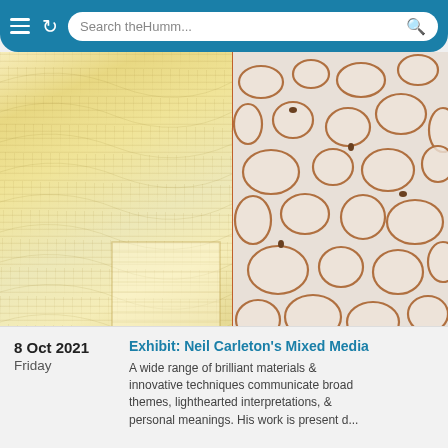Search theHumm...
[Figure (photo): Split artwork image: left side shows a yellow/cream woven textile with wave-like patterns and an embedded lighter square shape; right side shows a white/beige textile with circular stone-like embroidered oval shapes with brown outlines, and a striped dark strip at the bottom.]
8 Oct 2021
Friday
Exhibit: Neil Carleton's Mixed Media
A wide range of brilliant materials & innovative techniques communicate broad themes, lighthearted interpretations, & personal meanings. His work is present d...